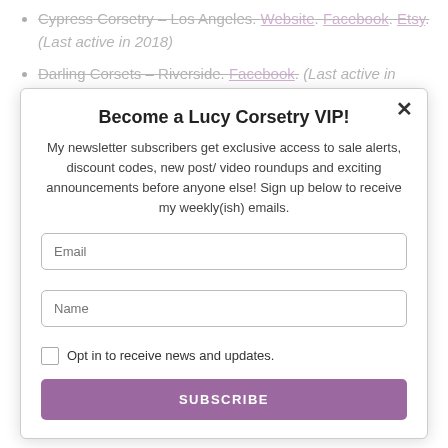Cypress Corsetry – Los Angeles. Website. Facebook. Etsy. (Last active in 2018)
Darling Corsets – Riverside. Facebook. (Last active in 2016)
Become a Lucy Corsetry VIP!
My newsletter subscribers get exclusive access to sale alerts, discount codes, new post/ video roundups and exciting announcements before anyone else! Sign up below to receive my weekly(ish) emails.